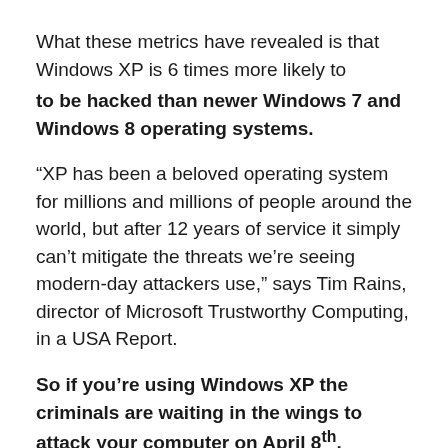What these metrics have revealed is that Windows XP is 6 times more likely to
to be hacked than newer Windows 7 and Windows 8 operating systems.
“XP has been a beloved operating system for millions and millions of people around the world, but after 12 years of service it simply can’t mitigate the threats we’re seeing modern-day attackers use,” says Tim Rains, director of Microsoft Trustworthy Computing, in a USA Report.
So if you’re using Windows XP the criminals are waiting in the wings to attack your computer on April 8th.